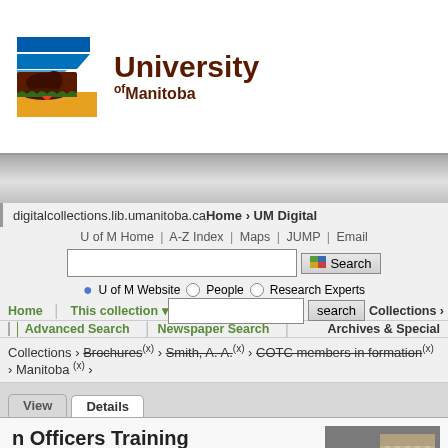[Figure (logo): University of Manitoba logo with bison and blue/gold design]
University of Manitoba
digitalcollections.lib.umanitoba.ca Home › UM Digital
U of M Home | A-Z Index | Maps | JUMP | Email
U of M Website   People   Research Experts
Collections › Brochures (x) › Smith, A. A. (x) › COTC members in formation (x) › Manitoba (x) ›
Home   This collection ▾
Advanced Search   Newspaper Search   Collections ›   Archives & Special
n Officers Training
onds
eak of World War I, the University